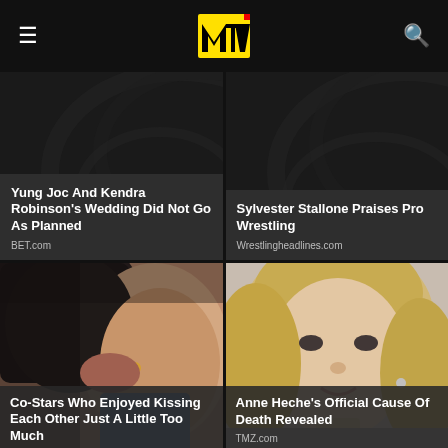MTV
[Figure (photo): Dark swirl pattern background – text card: Yung Joc And Kendra Robinson's Wedding Did Not Go As Planned, BET.com]
Yung Joc And Kendra Robinson's Wedding Did Not Go As Planned
BET.com
[Figure (photo): Dark swirl pattern background – text card: Sylvester Stallone Praises Pro Wrestling, Wrestlingheadlines.com]
Sylvester Stallone Praises Pro Wrestling
Wrestlingheadlines.com
[Figure (photo): Two people kissing close-up photo]
Co-Stars Who Enjoyed Kissing Each Other Just A Little Too Much
[Figure (photo): Portrait of Anne Heche, blonde woman smiling]
Anne Heche's Official Cause Of Death Revealed
TMZ.com